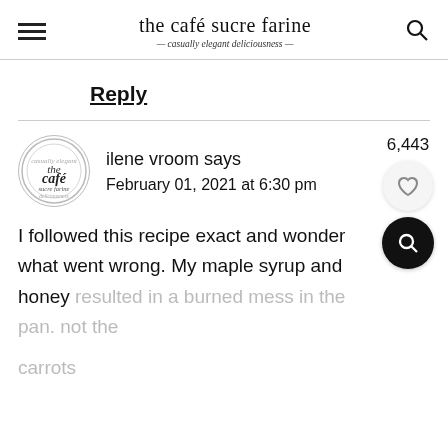the café sucre farine — casually elegant deliciousness
Reply
ilene vroom says
February 01, 2021 at 6:30 pm
I followed this recipe exact and wonder what went wrong. My maple syrup and honey resulted in a burned mess in the pan. not the carrots